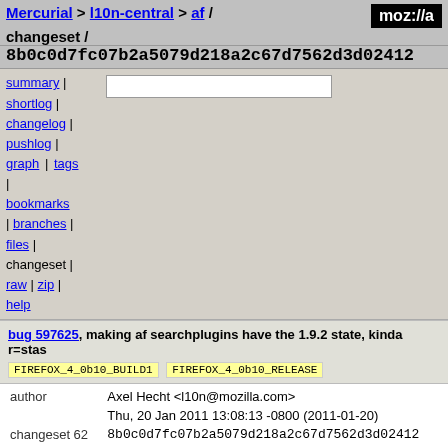Mercurial > l10n-central > af / changeset /
8b0c0d7fc07b2a5079d218a2c67d7562d3d02412
summary | shortlog | changelog | pushlog | graph | tags | [search box] | bookmarks | branches | files | changeset | raw | zip | help
bug 597625, making af searchplugins have the 1.9.2 state, kinda r=stas
FIREFOX_4_0b10_BUILD1   FIREFOX_4_0b10_RELEASE
| field | value |
| --- | --- |
| author | Axel Hecht <l10n@mozilla.com> |
|  | Thu, 20 Jan 2011 13:08:13 -0800 (2011-01-20) |
| changeset 62 | 8b0c0d7fc07b2a5079d218a2c67d7562d3d02412 |
| parent 61 | c682f2f68ab5b849ab00bd05e17dcf2f0fc49be5 |
| child 63 | 84ad7f8ff5bf47361c46ad94bd8259b78381f0dd |
| child 65 | e4585d9f9353070486ae92a1262bd379eb4074e8 |
| push id | 35 |
| push user | axel@mozilla.com |
| push date | Fri, 21 Jan 2011 00:57:11 +0000 (2011-01-21) |